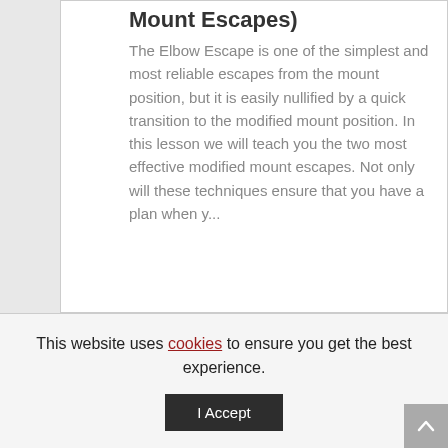Mount Escapes)
The Elbow Escape is one of the simplest and most reliable escapes from the mount position, but it is easily nullified by a quick transition to the modified mount position. In this lesson we will teach you the two most effective modified mount escapes. Not only will these techniques ensure that you have a plan when y...
This website uses cookies to ensure you get the best experience.
I Accept